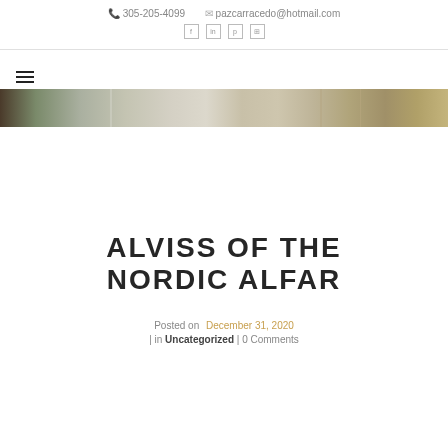305-205-4099  pazcarracedo@hotmail.com
[Figure (illustration): Social media icons: Facebook, LinkedIn, Pinterest, and a grid/hashtag icon]
[Figure (photo): Horizontal hero image strip showing a blurred interior/exterior design scene with greens and neutrals]
ALVISS OF THE NORDIC ALFAR
Posted on  December 31, 2020
| in Uncategorized | 0 Comments